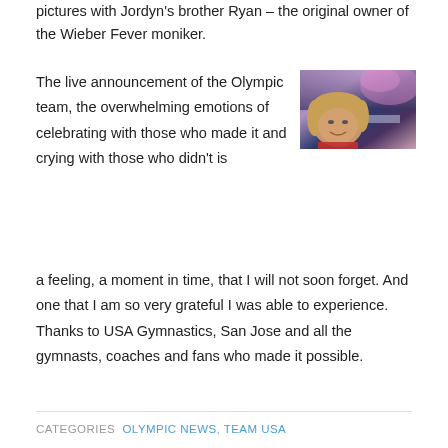pictures with Jordyn's brother Ryan – the original owner of the Wieber Fever moniker.
The live announcement of the Olympic team, the overwhelming emotions of celebrating with those who made it and crying with those who didn't is a feeling, a moment in time, that I will not soon forget. And one that I am so very grateful I was able to experience. Thanks to USA Gymnastics, San Jose and all the gymnasts, coaches and fans who made it possible.
[Figure (photo): Selfie photo of a woman smiling in a large arena filled with confetti and crowds, taken at what appears to be a gymnastics event celebration.]
CATEGORIES  OLYMPIC NEWS, TEAM USA